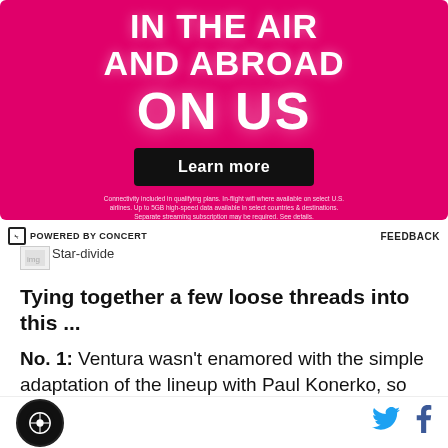[Figure (illustration): T-Mobile advertisement banner with magenta/pink background showing text 'IN THE AIR AND ABROAD ON US' with a 'Learn more' button and fine print about connectivity]
POWERED BY CONCERT    FEEDBACK
[Figure (illustration): Star-divide image icon]
Tying together a few loose threads into this ...
No. 1: Ventura wasn't enamored with the simple adaptation of the lineup with Paul Konerko, so he
Site logo | Twitter icon | Facebook icon